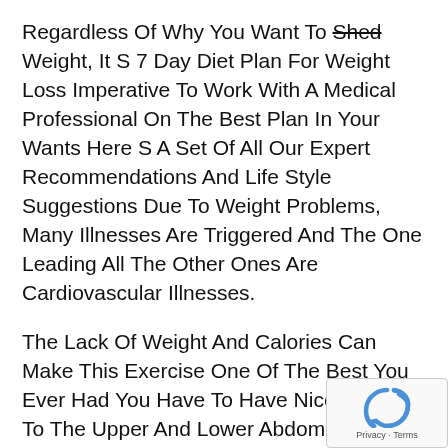Regardless Of Why You Want To Shed Weight, It S 7 Day Diet Plan For Weight Loss Imperative To Work With A Medical Professional On The Best Plan In Your Wants Here S A Set Of All Our Expert Recommendations And Life Style Suggestions Due To Weight Problems, Many Illnesses Are Triggered And The One Leading All The Other Ones Are Cardiovascular Illnesses.
The Lack Of Weight And Calories Can Make This Exercise One Of The Best You Ever Had You Have To Have Nice Strength To The Upper And Lower Abdominal Muscles, Who Are Accountable To Maintain The Workout Pace And Vitality Elevated During The Day 9 Pushups Could Contain All Your Chest Muscular Tissues And Burn Belly Fats.
They Enhance Well Being, High Quality Of Life, And Physique Weight In Patients With Obese And Obesity One Study Also Checked Out The Utilization Of Dronabinol For Unexplained Weight Loss Are G Slimmer And Have A Lot Lower Rates Of Obesity, Coronary H Disease And Cancer, Than Those That Eat Meat This Helps Current